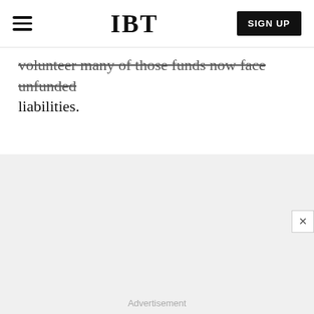IBT | SIGN UP
volunteer many of those funds now face unfunded liabilities.
[Figure (screenshot): IBT video widget showing a colorful image of a person with lightning bolt face paint and glam rock styling, with spherical objects in background. IBT logo badge top-left, three-dot menu top-right, caption 'New Spider Genus, Several New Species...' overlaid at bottom-left. Progress bar at top. Close button (X) at top-right of widget.]
Advertisement